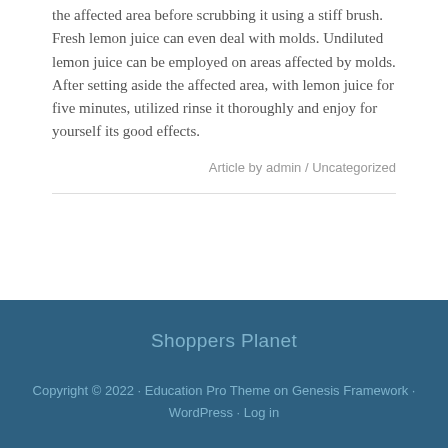the affected area before scrubbing it using a stiff brush. Fresh lemon juice can even deal with molds. Undiluted lemon juice can be employed on areas affected by molds. After setting aside the affected area, with lemon juice for five minutes, utilized rinse it thoroughly and enjoy for yourself its good effects.
Article by admin / Uncategorized
Shoppers Planet
Copyright © 2022 · Education Pro Theme on Genesis Framework · WordPress · Log in